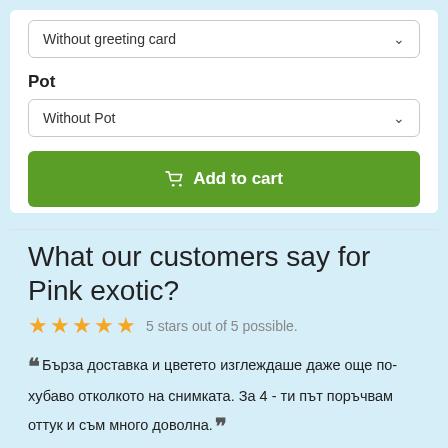Without greeting card
Pot
Without Pot
Add to cart
What our customers say for Pink exotic?
5 stars out of 5 possible.
Бърза доставка и цветето изглеждаше даже още по-хубаво отколкото на снимката. За 4 - ти път поръчвам оттук и съм много доволна.
Мариана Д., 10.05.2022.